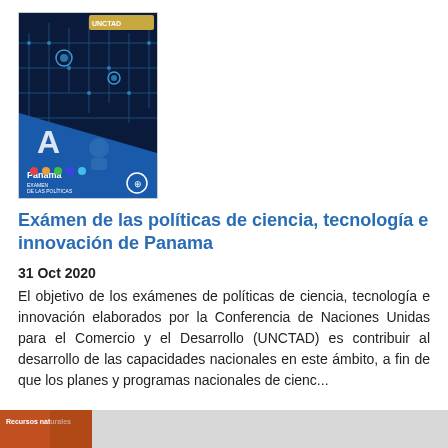[Figure (illustration): Book cover of UNCTAD Panama science, technology and innovation policy review report, featuring a blue digital/tech themed cover with Panama text and UNCTAD logo]
Exámen de las políticas de ciencia, tecnología e innovación de Panama
31 Oct 2020
El objetivo de los exámenes de políticas de ciencia, tecnología e innovación elaborados por la Conferencia de Naciones Unidas para el Comercio y el Desarrollo (UNCTAD) es contribuir al desarrollo de las capacidades nacionales en este ámbito, a fin de que los planes y programas nacionales de cienc...
[Figure (illustration): Partial thumbnail of another publication at the bottom of the page, partially visible]